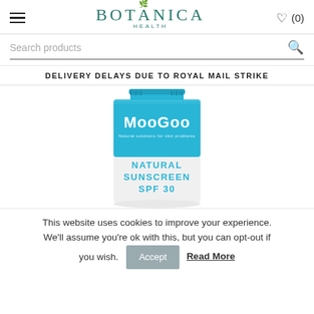BOTANICA HEALTH — navigation header with hamburger menu, heart icon, and cart (0)
Search products
DELIVERY DELAYS DUE TO ROYAL MAIL STRIKE
[Figure (photo): MooGoo Natural Sunscreen SPF 30 product tube in blue and white packaging]
This website uses cookies to improve your experience. We'll assume you're ok with this, but you can opt-out if you wish. Accept  Read More